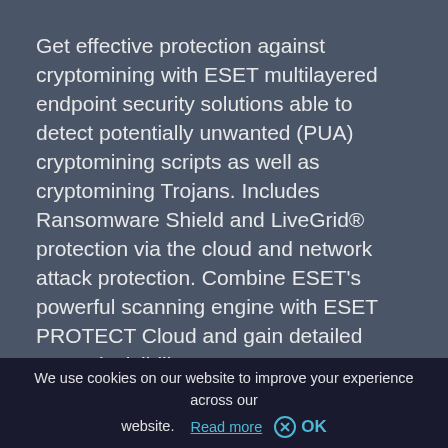Get effective protection against cryptomining with ESET multilayered endpoint security solutions able to detect potentially unwanted (PUA) cryptomining scripts as well as cryptomining Trojans. Includes Ransomware Shield and LiveGrid® protection via the cloud and network attack protection. Combine ESET's powerful scanning engine with ESET PROTECT Cloud and gain detailed network visibility.
LEARN MORE
We use cookies on our website to improve your experience across our website. Read more OK